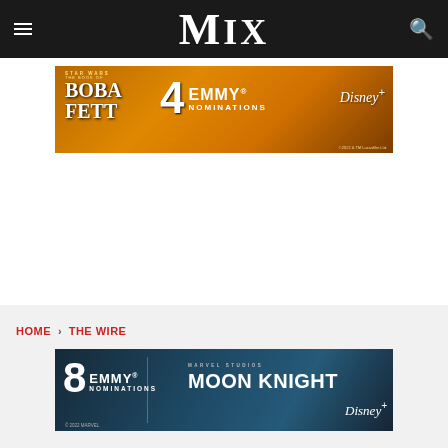MIX
[Figure (infographic): Star Wars: The Book of Boba Fett — 4 Emmy Nominations — Disney+ advertisement banner with orange/gold background]
HOME > THE WIRE
[Figure (infographic): Moon Knight — 8 Emmy Nominations — Disney+ / Marvel Studios advertisement banner with dark blue background]